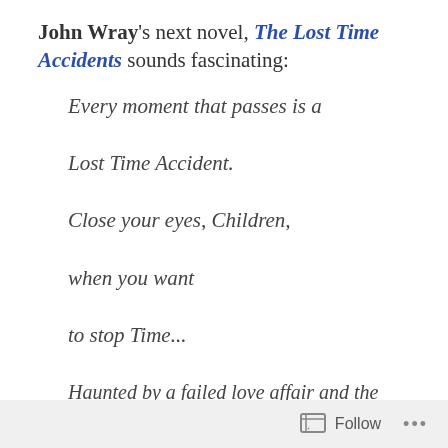John Wray's next novel, The Lost Time Accidents sounds fascinating:
Every moment that passes is a

Lost Time Accident.

Close your eyes, Children,

when you want

to stop Time...
Haunted by a failed love affair and the darkest of family secrets, Waldemar 'Waldy' Tolliver wakes one morning to discover that he has been exiled from the flow of time. The world has not...
Follow ...